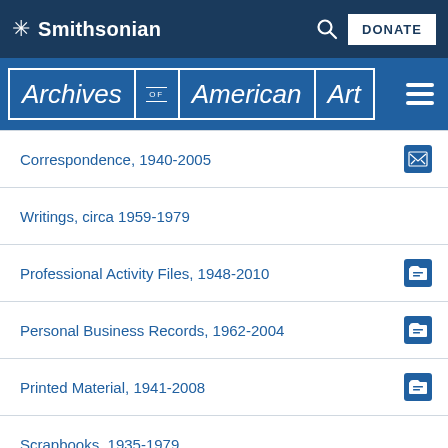Smithsonian
[Figure (logo): Archives of American Art logo on blue bar with hamburger menu]
Correspondence, 1940-2005
Writings, circa 1959-1979
Professional Activity Files, 1948-2010
Personal Business Records, 1962-2004
Printed Material, 1941-2008
Scrapbooks, 1935-1979
Artwork, circa 1937
Photographic Material, circa 1925-2001